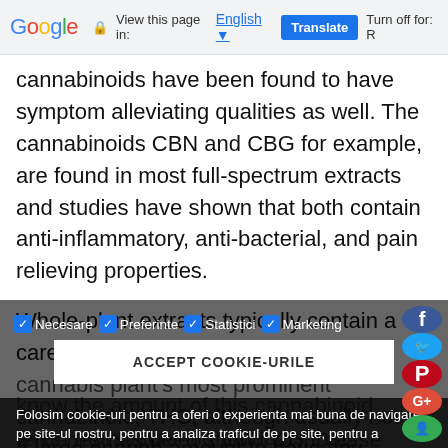Google  View this page in: English  Translate  Turn off for: R
cannabinoids have been found to have symptom alleviating qualities as well. The cannabinoids CBN and CBG for example, are found in most full-spectrum extracts and studies have shown that both contain anti-inflammatory, anti-bacterial, and pain relieving properties.
Whole-plant extracts typically contain a carefully measured amount of the cannabis plant's most prominent cannabinoid, THC, although usually not in a large enough amount to have any psychoactive effect. In many countries, a certain … so it is vital … know the amount of this cannabinoid when manufacturing products that contain full-spectrum CBD … other CBD and its cannabinoid … terpenes has been shown to increase the healing
✓ Necesare ✓ Preferinte ✓ Statistici ✓ Marketing
ACCEPT COOKIE-URILE
Folosim cookie-uri pentru a oferi o experienta mai buna de navigare pe site-ul nostru, pentru a analiza traficul de pe site, pentru a personaliza continutul si pentru a servi anunturi directionate. Prin apasarea butonul de confirmare sau prin continuarea navigarii pe site-ul nostru, sunteti de acord ca site-ul nostru sa stocheze cookie-uri in browser-ul dumneavoastra.